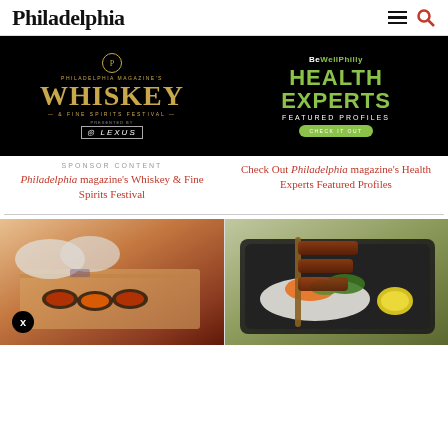Philadelphia
[Figure (photo): Philadelphia Magazine's Whiskey & Fine Spirits Festival promotional image with gold text on black background, presented by Lexus]
[Figure (photo): BeWellPhilly Health Experts Featured Profiles promotional image with green text on black background and Check It Out button]
SPONSOR CONTENT
Philadelphia magazine's Whiskey & Fine Spirits Festival
Check Out Philadelphia magazine's Health Experts Featured Profiles
[Figure (photo): Chef preparing sushi rolls on wooden board]
[Figure (photo): Bento box with grilled meat skewer, carrots, rice, and lemon]